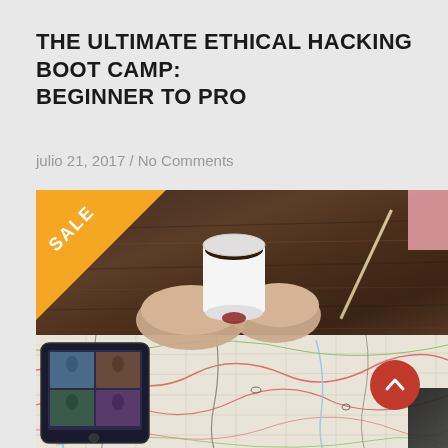THE ULTIMATE ETHICAL HACKING BOOT CAMP: BEGINNER TO PRO
julio 21, 2017 / No Comments
[Figure (photo): A person holding a coffee cup viewed from above, with their hands over a paper map spread on a wooden table. A tablet device is visible in the lower left corner, and a pencil and pink notebook are on the wooden surface. A yellow 'SALE' triangular banner is in the top-left corner of the image. A red circular scroll-to-top button with an upward chevron is in the lower right.]